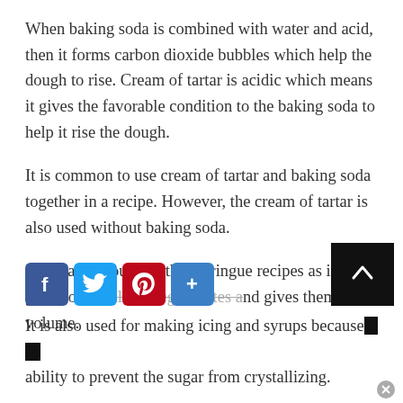When baking soda is combined with water and acid, then it forms carbon dioxide bubbles which help the dough to rise. Cream of tartar is acidic which means it gives the favorable condition to the baking soda to help it rise the dough.
It is common to use cream of tartar and baking soda together in a recipe. However, the cream of tartar is also used without baking soda.
It is mainly found in the meringue recipes as it is good for stabilizing egg whites and gives them volume.
[Figure (other): Social sharing bar with Facebook, Twitter, Pinterest, and share buttons; scroll-to-top button]
It is also used for making icing and syrups because of its ability to prevent the sugar from crystallizing.